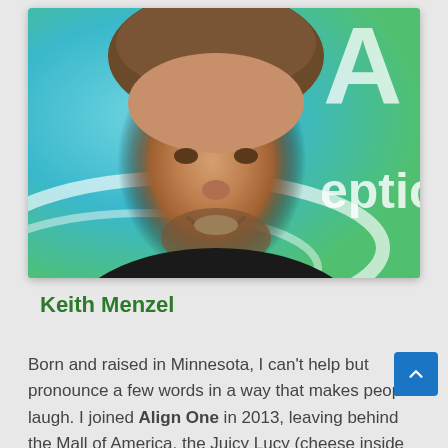[Figure (photo): Headshot of Keith Menzel, a middle-aged man with brown hair and a goatee, smiling broadly, wearing a black hoodie, with a blue-green background featuring white swooshes and partial text reading 'ceptic']
Keith Menzel
Born and raised in Minnesota, I can’t help but pronounce a few words in a way that makes people laugh. I joined Align One in 2013, leaving behind the Mall of America, the Juicy Lucy (cheese inside a hamburger), the Mississippi River,